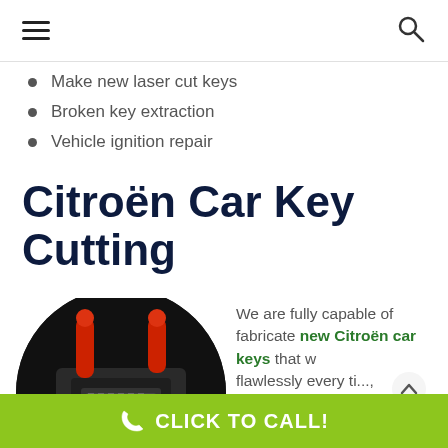Navigation bar with hamburger menu and search icon
Make new laser cut keys
Broken key extraction
Vehicle ignition repair
Citroën Car Key Cutting
[Figure (photo): Circular cropped photo of a key cutting machine with red handles on a dark background]
We are fully capable of fabricate new Citroën car keys that w... flawlessly every ti..., with no damage to your
CLICK TO CALL!